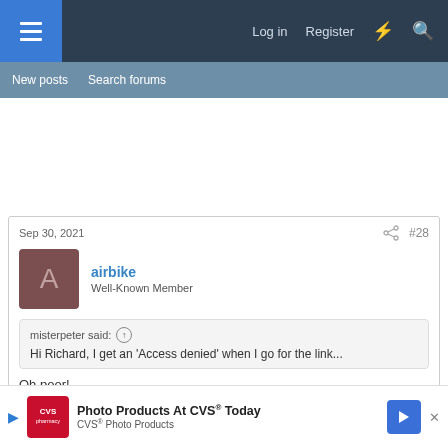Log in  Register
New posts  Search forums
Sep 30, 2021  #28
airbike
Well-Known Member
misterpeter said: ↑
Hi Richard, I get an 'Access denied' when I go for the link...
Oh poor!